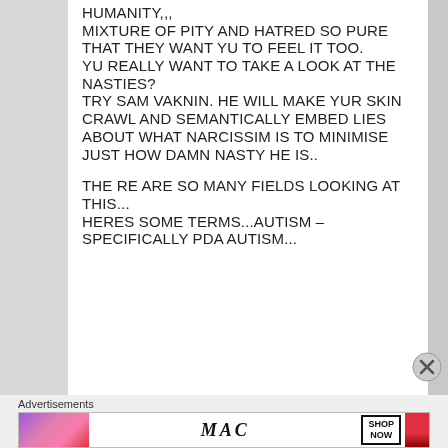HUMANITY,,, MIXTURE OF PITY AND HATRED SO PURE THAT THEY WANT YU TO FEEL IT TOO. YU REALLY WANT TO TAKE A LOOK AT THE NASTIES? TRY SAM VAKNIN. HE WILL MAKE YUR SKIN CRAWL AND SEMANTICALLY EMBED LIES ABOUT WHAT NARCISSIM IS TO MINIMISE JUST HOW DAMN NASTY HE IS..
THE RE ARE SO MANY FIELDS LOOKING AT THIS... HERES SOME TERMS...AUTISM – SPECIFICALLY PDA AUTISM...
Advertisements
[Figure (photo): MAC cosmetics advertisement banner showing colourful lipsticks on the left, the MAC logo in the centre, a SHOP NOW box, and a red lipstick on the right.]